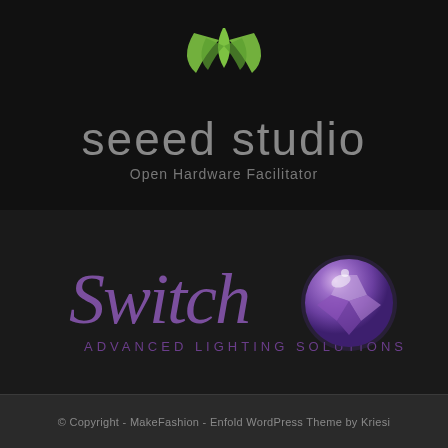[Figure (logo): Seeed Studio logo — green leaf/plant icon above large grey text 'seeed studio' with tagline 'Open Hardware Facilitator']
[Figure (logo): Switch Advanced Lighting Solutions logo — purple cursive 'Switch' text with 'ADVANCED LIGHTING SOLUTIONS' beneath, and a purple/lavender faceted sphere orb to the right]
© Copyright - MakeFashion - Enfold WordPress Theme by Kriesi